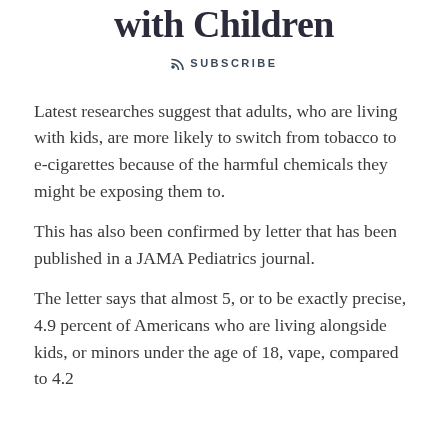with Children
SUBSCRIBE
Latest researches suggest that adults, who are living with kids, are more likely to switch from tobacco to e-cigarettes because of the harmful chemicals they might be exposing them to.
This has also been confirmed by letter that has been published in a JAMA Pediatrics journal.
The letter says that almost 5, or to be exactly precise, 4.9 percent of Americans who are living alongside kids, or minors under the age of 18, vape, compared to 4.2